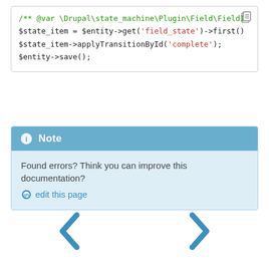[Figure (screenshot): Code block showing PHP snippet with comments and string literals in color-coded monospace font]
Note
Found errors? Think you can improve this documentation?
edit this page
[Figure (other): Navigation chevron arrows (left and right) for page navigation]